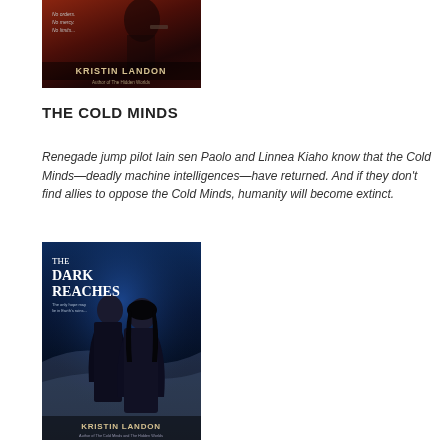[Figure (illustration): Book cover of a Kristin Landon novel (partially cropped at top). Dark reddish background with a figure and the author name KRISTIN LANDON and subtitle 'Author of The Hidden Worlds'.]
THE COLD MINDS
Renegade jump pilot Iain sen Paolo and Linnea Kiaho know that the Cold Minds—deadly machine intelligences—have returned. And if they don't find allies to oppose the Cold Minds, humanity will become extinct.
[Figure (illustration): Book cover of 'The Dark Reaches' by Kristin Landon. Two figures (a man and woman) in dark coats stand against a blue icy background. Author subtitle reads 'Author of The Cold Minds and The Hidden Worlds'.]